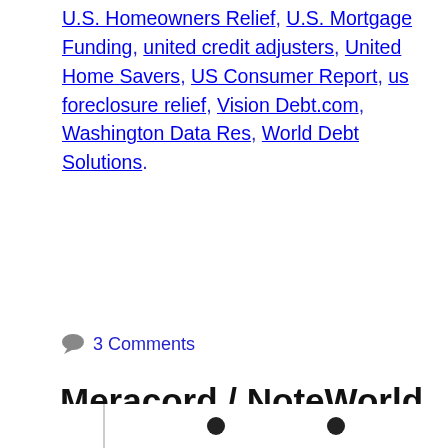U.S. Homeowners Relief, U.S. Mortgage Funding, united credit adjusters, United Home Savers, US Consumer Report, us foreclosure relief, Vision Debt.com, Washington Data Res, World Debt Solutions.
3 Comments
Meracord / NoteWorld Still Taking a Beating Over Debt Relief Activities. Drags Many In.
April 25, 2013 by Steve Rhode